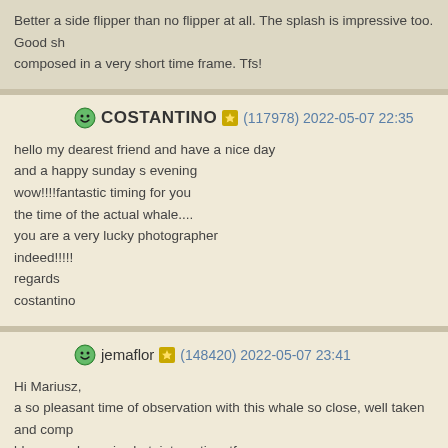Better a side flipper than no flipper at all. The splash is impressive too. Good sh composed in a very short time frame. Tfs!
COSTANTINO (117978) 2022-05-07 22:35
hello my dearest friend and have a nice day
and a happy sunday s evening
wow!!!!fantastic timing for you
the time of the actual whale....
you are a very lucky photographer
indeed!!!!!
regards
costantino
jemaflor (148420) 2022-05-07 23:41
Hi Mariusz,
a so pleasant time of observation with this whale so close, well taken and comp blue sea, dynamic shot, interesting, tfs.
vjmite (6720) 2022-05-08 3:53
Hi Mariusz,